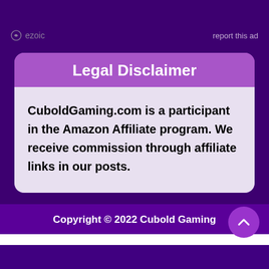[Figure (logo): Ezoic logo with circular arrow icon and text 'ezoic']
report this ad
Legal Disclaimer
CuboldGaming.com is a participant in the Amazon Affiliate program. We receive commission through affiliate links in our posts.
Copyright © 2022 Cubold Gaming